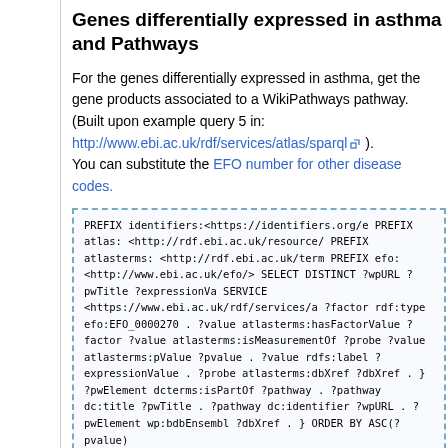Genes differentially expressed in asthma and Pathways
For the genes differentially expressed in asthma, get the gene products associated to a WikiPathways pathway. (Built upon example query 5 in: http://www.ebi.ac.uk/rdf/services/atlas/sparql ). You can substitute the EFO number for other disease codes.
[Figure (other): SPARQL code block with dashed blue border containing PREFIX declarations, SELECT DISTINCT, SERVICE, WHERE clause with variables ?factor, ?value, ?probe, ?pathway, ?pwElement, and ORDER BY ASC(?pvalue)]